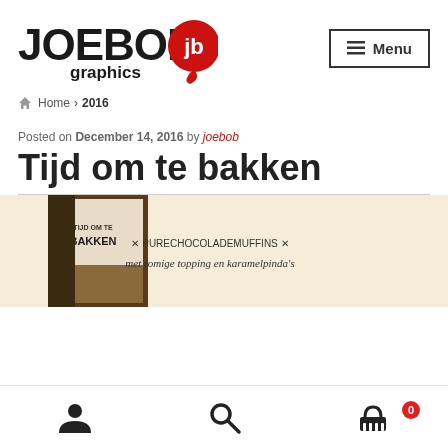[Figure (logo): JoeBob Graphics logo with red stylized jb icon and text 'JOEBOB graphics']
Menu
Home › 2016
Posted on December 14, 2016 by joebob
Tijd om te bakken
[Figure (photo): Book cover of 'Tijd om te bakken' with text about pure chocolade muffins met romige topping en karamelpinda's]
[Figure (infographic): Bottom navigation bar with user icon, search icon, and shopping cart icon with badge showing 0]